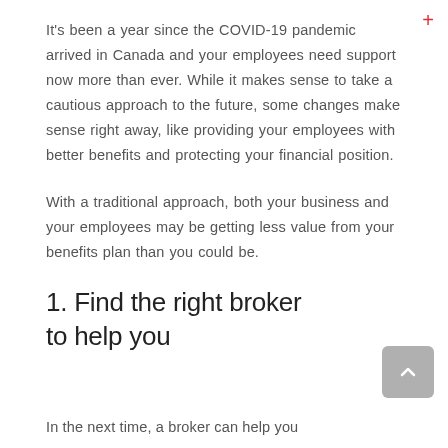It's been a year since the COVID-19 pandemic arrived in Canada and your employees need support now more than ever. While it makes sense to take a cautious approach to the future, some changes make sense right away, like providing your employees with better benefits and protecting your financial position.
With a traditional approach, both your business and your employees may be getting less value from your benefits plan than you could be.
1. Find the right broker to help you
In the next time, a broker can help you...